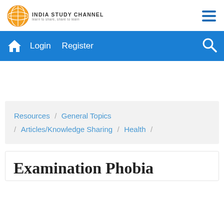[Figure (logo): India Study Channel logo with globe icon and tagline]
Login  Register
Resources / General Topics / Articles/Knowledge Sharing / Health /
Examination Phobia